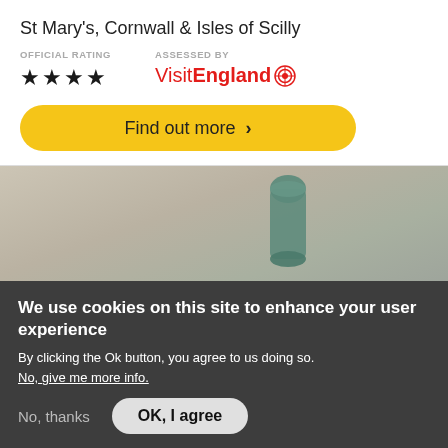St Mary's, Cornwall & Isles of Scilly
OFFICIAL RATING   ★★★★   ASSESSED BY   VisitEngland
Find out more >
[Figure (photo): Partial photo showing a teal/green cylindrical object against a light gray background]
We use cookies on this site to enhance your user experience
By clicking the Ok button, you agree to us doing so.
No, give me more info.
No, thanks   OK, I agree